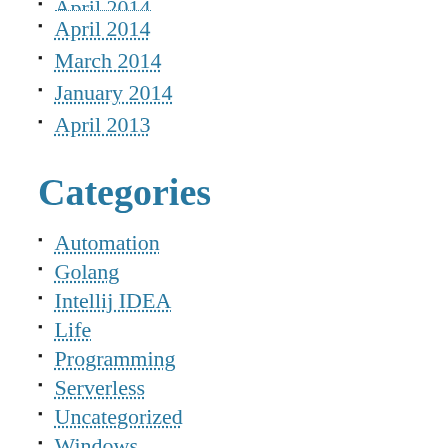[partial link at top]
April 2014
March 2014
January 2014
April 2013
Categories
Automation
Golang
Intellij IDEA
Life
Programming
Serverless
Uncategorized
Windows
Work